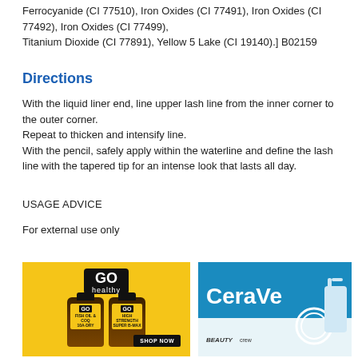Ferrocyanide (CI 77510), Iron Oxides (CI 77491), Iron Oxides (CI 77492), Iron Oxides (CI 77499),
Titanium Dioxide (CI 77891), Yellow 5 Lake (CI 19140).] B02159
Directions
With the liquid liner end, line upper lash line from the inner corner to the outer corner.
Repeat to thicken and intensify line.
With the pencil, safely apply within the waterline and define the lash line with the tapered tip for an intense look that lasts all day.
USAGE ADVICE
For external use only
[Figure (photo): GO Healthy supplement bottles advertisement on yellow background with shop now button]
[Figure (photo): CeraVe skincare product advertisement on blue background with Beauty Crew logo]